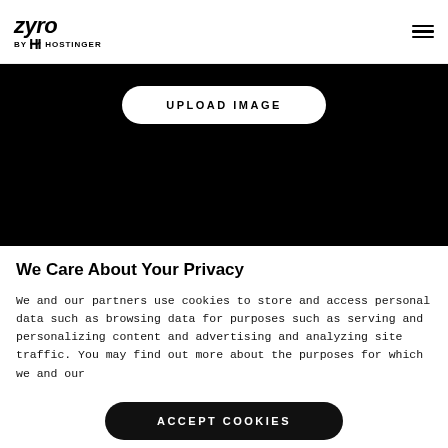zyro by HOSTINGER
[Figure (screenshot): Black background section with UPLOAD IMAGE button (white, pill-shaped)]
We Care About Your Privacy
We and our partners use cookies to store and access personal data such as browsing data for purposes such as serving and personalizing content and advertising and analyzing site traffic. You may find out more about the purposes for which we and our
ACCEPT COOKIES